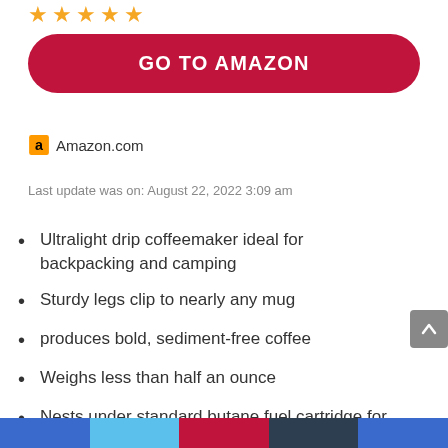[Figure (illustration): Five gold star rating icons]
GO TO AMAZON
Amazon.com
Last update was on: August 22, 2022 3:09 am
Ultralight drip coffeemaker ideal for backpacking and camping
Sturdy legs clip to nearly any mug
produces bold, sediment-free coffee
Weighs less than half an ounce
Nests under standard butane fuel cartridge for easy storage and transport
Legs hold drip cone completely above mug to